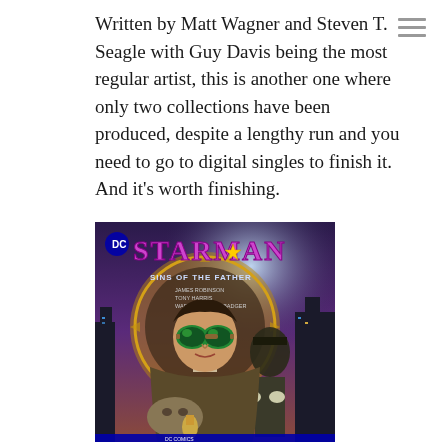Written by Matt Wagner and Steven T. Seagle with Guy Davis being the most regular artist, this is another one where only two collections have been produced, despite a lengthy run and you need to go to digital singles to finish it.  And it's worth finishing.
[Figure (illustration): Comic book cover for Starman: Sins of the Father, showing a man with large round green goggles in the foreground, an older figure in a hat in the background, and a cityscape. Purple and gold color scheme with DC Comics logo.]